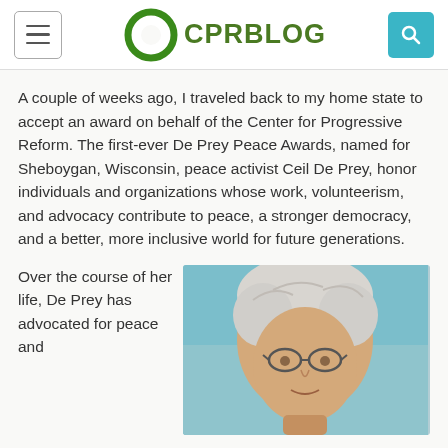CPR BLOG
A couple of weeks ago, I traveled back to my home state to accept an award on behalf of the Center for Progressive Reform. The first-ever De Prey Peace Awards, named for Sheboygan, Wisconsin, peace activist Ceil De Prey, honor individuals and organizations whose work, volunteerism, and advocacy contribute to peace, a stronger democracy, and a better, more inclusive world for future generations.
Over the course of her life, De Prey has advocated for peace and
[Figure (photo): Close-up photo of an elderly woman with short white/grey hair wearing glasses, photographed indoors with a teal/blue background.]